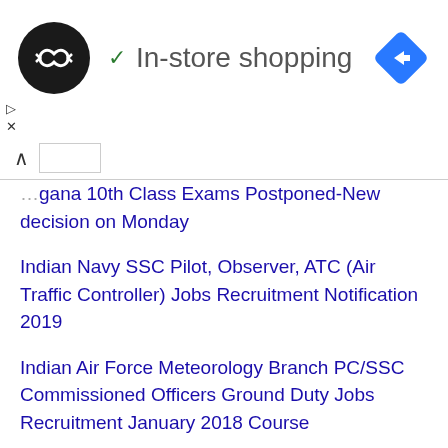[Figure (logo): Black circular logo with double-arrow infinity-like symbol in white]
✓ In-store shopping
[Figure (other): Blue diamond navigation icon with right-arrow]
Telangana 10th Class Exams Postponed-New decision on Monday
Indian Navy SSC Pilot, Observer, ATC (Air Traffic Controller) Jobs Recruitment Notification 2019
Indian Air Force Meteorology Branch PC/SSC Commissioned Officers Ground Duty Jobs Recruitment January 2018 Course
General Knowledge and Current Affairs Questions Asked in SSC CHSL 2019 Exam-In Telugu
SSCMPR CG, MP Phase-10 Surveyor, Insect Collector, Investigator, Lab Attendant, Chargeman 26 Govt Jobs Online Recruitment Exam Syllabus